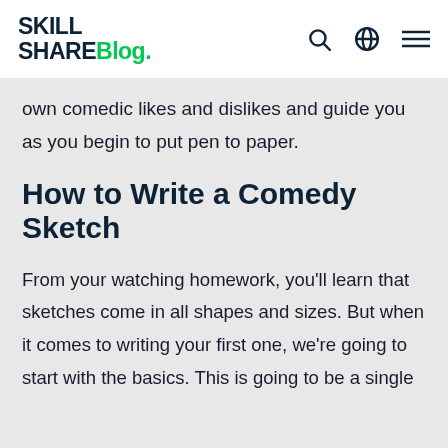SkillShare Blog.
own comedic likes and dislikes and guide you as you begin to put pen to paper.
How to Write a Comedy Sketch
From your watching homework, you'll learn that sketches come in all shapes and sizes. But when it comes to writing your first one, we're going to start with the basics. This is going to be a single location...